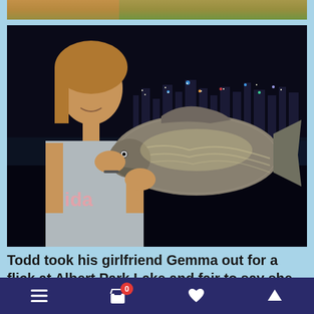[Figure (photo): Top strip of another photo, partially cropped, showing warm outdoor tones]
[Figure (photo): Night photo of a woman smiling and holding a large fish (bream/bass) at Albert Park Lake. City skyline with lights visible in background. Woman wearing grey Adidas t-shirt, holding a large silver scaled fish with both hands.]
Todd took his girlfriend Gemma out for a flick at Albert Park Lake and fair to say she is a
[Figure (other): Bottom navigation bar with hamburger menu, cart icon with badge showing 0, heart icon, and up arrow icon on dark blue background]